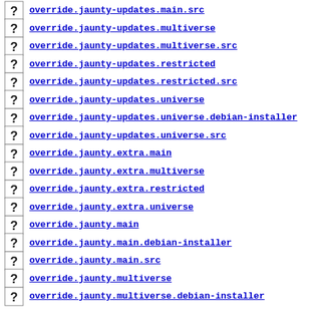override.jaunty-updates.main.src
override.jaunty-updates.multiverse
override.jaunty-updates.multiverse.src
override.jaunty-updates.restricted
override.jaunty-updates.restricted.src
override.jaunty-updates.universe
override.jaunty-updates.universe.debian-installer
override.jaunty-updates.universe.src
override.jaunty.extra.main
override.jaunty.extra.multiverse
override.jaunty.extra.restricted
override.jaunty.extra.universe
override.jaunty.main
override.jaunty.main.debian-installer
override.jaunty.main.src
override.jaunty.multiverse
override.jaunty.multiverse.debian-installer